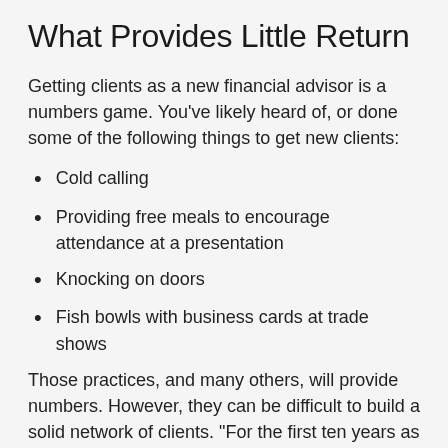What Provides Little Return
Getting clients as a new financial advisor is a numbers game. You've likely heard of, or done some of the following things to get new clients:
Cold calling
Providing free meals to encourage attendance at a presentation
Knocking on doors
Fish bowls with business cards at trade shows
Those practices, and many others, will provide numbers. However, they can be difficult to build a solid network of clients. “For the first ten years as an